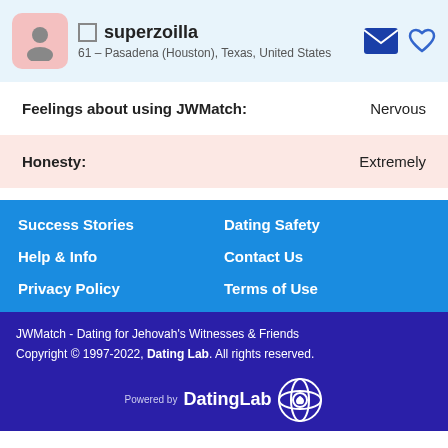superzoilla
61 – Pasadena (Houston), Texas, United States
Feelings about using JWMatch: Nervous
Honesty: Extremely
Success Stories
Dating Safety
Help & Info
Contact Us
Privacy Policy
Terms of Use
JWMatch - Dating for Jehovah's Witnesses & Friends
Copyright © 1997-2022, Dating Lab. All rights reserved.
Powered by DatingLab